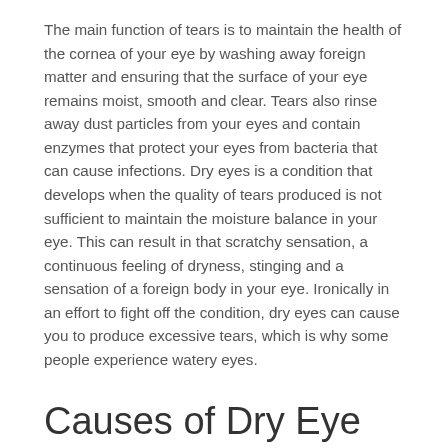The main function of tears is to maintain the health of the cornea of your eye by washing away foreign matter and ensuring that the surface of your eye remains moist, smooth and clear. Tears also rinse away dust particles from your eyes and contain enzymes that protect your eyes from bacteria that can cause infections. Dry eyes is a condition that develops when the quality of tears produced is not sufficient to maintain the moisture balance in your eye. This can result in that scratchy sensation, a continuous feeling of dryness, stinging and a sensation of a foreign body in your eye. Ironically in an effort to fight off the condition, dry eyes can cause you to produce excessive tears, which is why some people experience watery eyes.
Causes of Dry Eye
Dry eyes can occur naturally as a result of ageing or